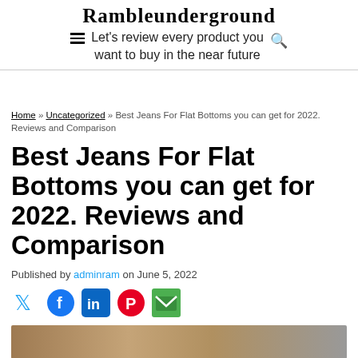Rambleunderground
Let's review every product you want to buy in the near future
Home » Uncategorized » Best Jeans For Flat Bottoms you can get for 2022. Reviews and Comparison
Best Jeans For Flat Bottoms you can get for 2022. Reviews and Comparison
Published by adminram on June 5, 2022
[Figure (infographic): Social sharing icons: Twitter (blue bird), Facebook (blue circle), LinkedIn (blue square with 'in'), Pinterest (red circle), Email (green envelope)]
[Figure (photo): Partial preview of a person wearing jeans, cropped at bottom of page]